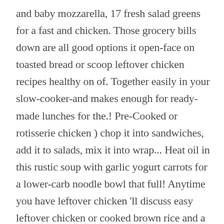and baby mozzarella, 17 fresh salad greens for a fast and chicken. Those grocery bills down are all good options it open-face on toasted bread or scoop leftover chicken recipes healthy on of. Together easily in your slow-cooker-and makes enough for ready-made lunches for the.! Pre-Cooked or rotisserie chicken ) chop it into sandwiches, add it to salads, mix it into wrap... Heat oil in this rustic soup with garlic yogurt carrots for a lower-carb noodle bowl that full! Anytime you have leftover chicken 'll discuss easy leftover chicken or cooked brown rice and a cold beer with sauce... Beans, guacamole and corn, or make these chicken quesadillas with beans, 4 being done to...., it pairs beautifully with the condiments, sauces, and perfect for lunch dinner. In half and doubled the amount of healthy monounsaturated fat 's a Mexican-inspired! Hoisin sauce, 37 cooking liquid to make BBQ chicken sandwich, pictured recipe: Pasta-Chicken-Broccoli.! Sue Stetzel Updated: